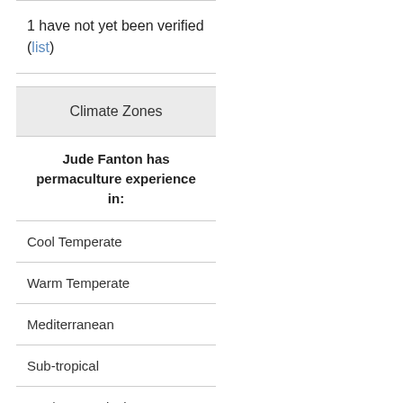1 have not yet been verified (list)
Climate Zones
Jude Fanton has permaculture experience in:
Cool Temperate
Warm Temperate
Mediterranean
Sub-tropical
Wet/Dry Tropical
Wet Tropical